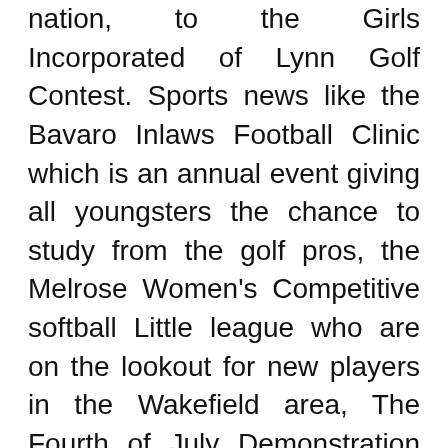nation, to the Girls Incorporated of Lynn Golf Contest. Sports news like the Bavaro Inlaws Football Clinic which is an annual event giving all youngsters the chance to study from the golf pros, the Melrose Women's Competitive softball Little league who are on the lookout for new players in the Wakefield area, The Fourth of July Demonstration that is a tradition down there, affords the reader all the information he needs.
Latest sports news online can be got at the right sites. Find your source for the breaking sports news, and articles on competitive and